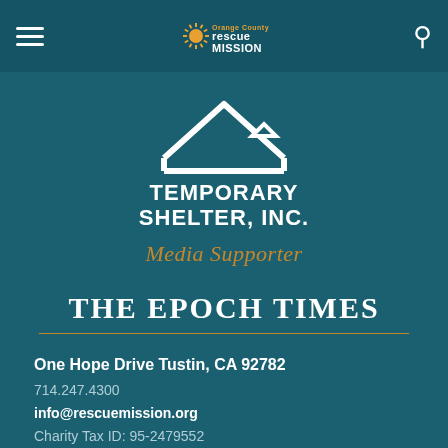[Figure (logo): Orange County Rescue Mission logo with sunburst icon and text 'rescue MISSION' in header]
[Figure (logo): Temporary Shelter Inc logo: white house outline silhouette with text TEMPORARY SHELTER, INC. beneath]
Media Supporter
[Figure (logo): The Epoch Times masthead logo in white serif text]
One Hope Drive Tustin, CA 92782
714.247.4300
info@rescuemission.org
Charity Tax ID: 95-2479552